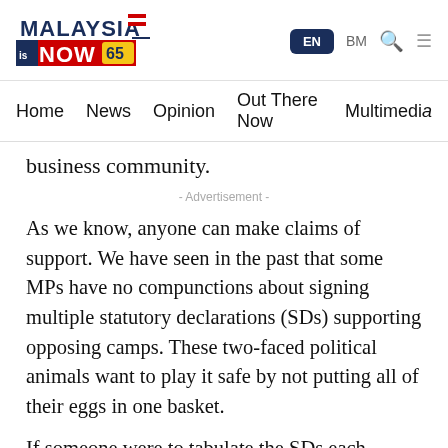[Figure (logo): MalaysiaNow logo with flag emoji and '65' badge]
EN  BM  [search] [menu]
Home  News  Opinion  Out There Now  Multimedia
business community.
- Advertisement -
As we know, anyone can make claims of support. We have seen in the past that some MPs have no compunctions about signing multiple statutory declarations (SDs) supporting opposing camps. These two-faced political animals want to play it safe by not putting all of their eggs in one basket.
If someone were to tabulate the SDs each faction now